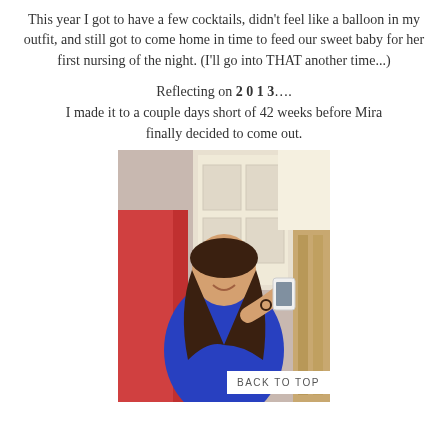This year I got to have a few cocktails, didn't feel like a balloon in my outfit, and still got to come home in time to feed our sweet baby for her first nursing of the night. (I'll go into THAT another time...)
Reflecting on 2 0 1 3.... I made it to a couple days short of 42 weeks before Mira finally decided to come out.
[Figure (photo): Woman taking a mirror selfie in a blue top, with red towel and door visible in background]
BACK TO TOP